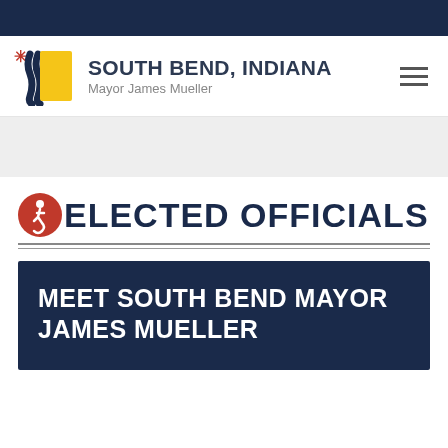[Figure (logo): South Bend, Indiana city logo with navy and yellow emblem, text 'SOUTH BEND, INDIANA' and 'Mayor James Mueller']
ELECTED OFFICIALS
MEET SOUTH BEND MAYOR JAMES MUELLER